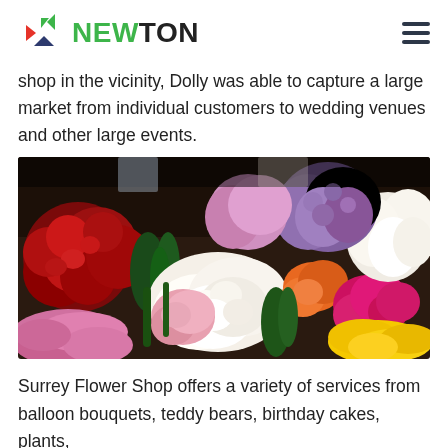NEWTON
shop in the vicinity, Dolly was able to capture a large market from individual customers to wedding venues and other large events.
[Figure (photo): A colorful display of various flowers including red roses, pink roses, white carnations, yellow roses, pink gerberas, orange flowers, and purple hydrangeas arranged in a flower shop.]
Surrey Flower Shop offers a variety of services from balloon bouquets, teddy bears, birthday cakes, plants,